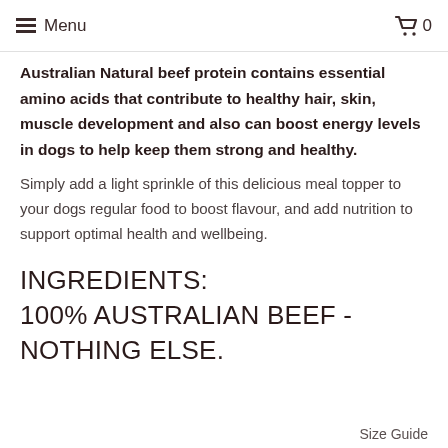Menu  0
Australian Natural beef protein contains essential amino acids that contribute to healthy hair, skin, muscle development and also can boost energy levels in dogs to help keep them strong and healthy.
Simply add a light sprinkle of this delicious meal topper to your dogs regular food to boost flavour, and add nutrition to support optimal health and wellbeing.
INGREDIENTS: 100% AUSTRALIAN BEEF - NOTHING ELSE.
Size Guide